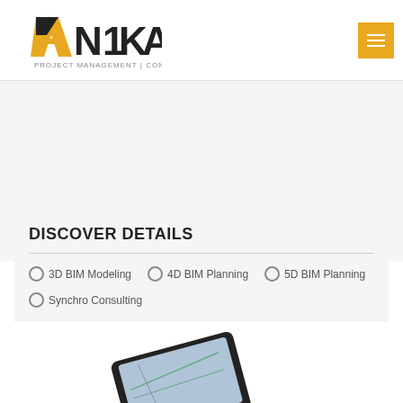[Figure (logo): Anika Project Management Consultant logo with geometric A shape in yellow/black and company name]
[Figure (other): Hamburger menu button in yellow/orange square]
DISCOVER DETAILS
3D BIM Modeling
4D BIM Planning
5D BIM Planning
Synchro Consulting
[Figure (photo): Tablet device showing a map or diagram, partially visible at bottom of page]